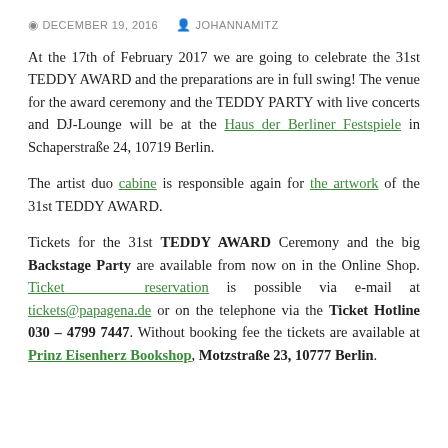DECEMBER 19, 2016   JOHANNAMITZ
At the 17th of February 2017 we are going to celebrate the 31st TEDDY AWARD and the preparations are in full swing! The venue for the award ceremony and the TEDDY PARTY with live concerts and DJ-Lounge will be at the Haus der Berliner Festspiele in Schaperstraße 24, 10719 Berlin.
The artist duo cabine is responsible again for the artwork of the 31st TEDDY AWARD.
Tickets for the 31st TEDDY AWARD Ceremony and the big Backstage Party are available from now on in the Online Shop. Ticket reservation is possible via e-mail at tickets@papagena.de or on the telephone via the Ticket Hotline 030 – 4799 7447. Without booking fee the tickets are available at Prinz Eisenherz Bookshop, Motzstraße 23, 10777 Berlin.